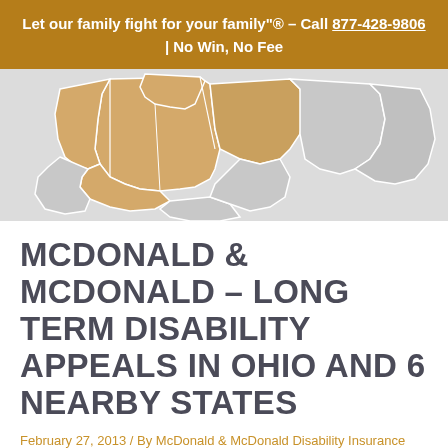Let our family fight for your family"® – Call 877-428-9806 | No Win, No Fee
[Figure (map): Partial map of the eastern United States showing Ohio and 6 nearby states highlighted in tan/gold color against a light gray background with state boundary lines visible.]
MCDONALD & MCDONALD – LONG TERM DISABILITY APPEALS IN OHIO AND 6 NEARBY STATES
February 27, 2013 / By McDonald & McDonald Disability Insurance Attorneys